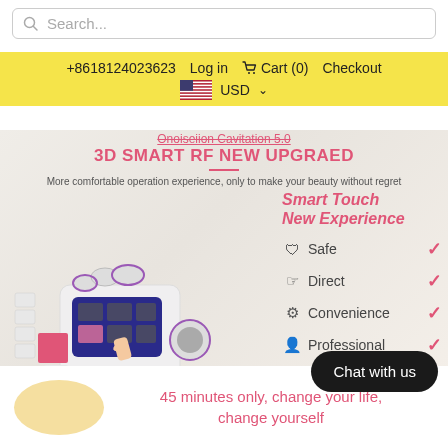[Figure (screenshot): E-commerce website screenshot showing a search bar at top, yellow navigation bar with phone number, login, cart, checkout, and USD currency selector, followed by a product banner for 'Onoiseiion Cavitation 5.0 3D SMART RF NEW UPGRAED' beauty machine with features panel showing Safe, Direct, Convenience, Professional checkmarks, a Chat with us button, and bottom text '45 minutes only, change your life, change yourself']